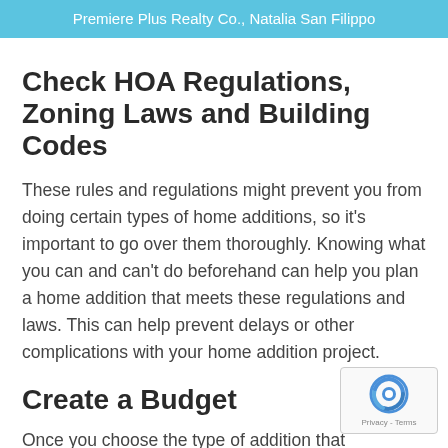Premiere Plus Realty Co., Natalia San Filippo
Check HOA Regulations, Zoning Laws and Building Codes
These rules and regulations might prevent you from doing certain types of home additions, so it's important to go over them thoroughly. Knowing what you can and can't do beforehand can help you plan a home addition that meets these regulations and laws. This can help prevent delays or other complications with your home addition project.
Create a Budget
Once you choose the type of addition that